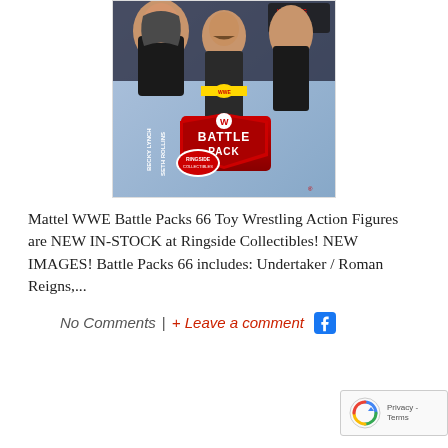[Figure (photo): WWE Battle Pack 66 toy packaging showing Seth Rollins and Becky Lynch action figures with championship belt, branded as Ringside Collectibles exclusive]
Mattel WWE Battle Packs 66 Toy Wrestling Action Figures are NEW IN-STOCK at Ringside Collectibles! NEW IMAGES! Battle Packs 66 includes: Undertaker / Roman Reigns,...
No Comments | + Leave a comment
MATTEL WWE BATTLE PACKS 67 PRE-ORD... ...WIT_MORRISON & MORE!